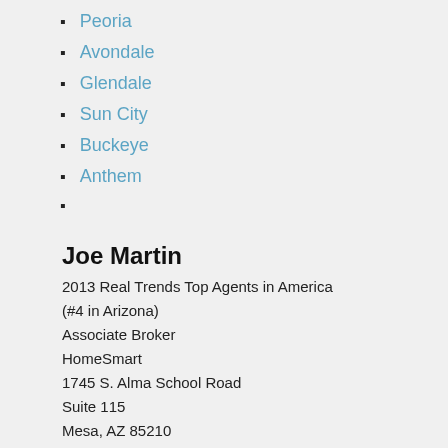Peoria
Avondale
Glendale
Sun City
Buckeye
Anthem
Joe Martin
2013 Real Trends Top Agents in America
(#4 in Arizona)
Associate Broker
HomeSmart
1745 S. Alma School Road
Suite 115
Mesa, AZ 85210
Ofc: 480.839.3700 Cell: 602.694.9375
[Figure (other): Small broken/placeholder image icon]
Connect with us